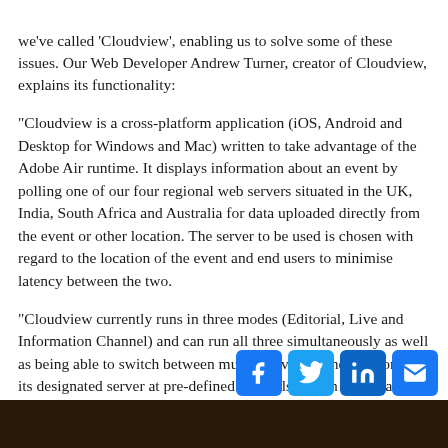we've called 'Cloudview', enabling us to solve some of these issues. Our Web Developer Andrew Turner, creator of Cloudview, explains its functionality:
"Cloudview is a cross-platform application (iOS, Android and Desktop for Windows and Mac) written to take advantage of the Adobe Air runtime. It displays information about an event by polling one of our four regional web servers situated in the UK, India, South Africa and Australia for data uploaded directly from the event or other location. The server to be used is chosen with regard to the location of the event and end users to minimise latency between the two.
"Cloudview currently runs in three modes (Editorial, Live and Information Channel) and can run all three simultaneously as well as being able to switch between multiple events. The app contacts its designated server at pre-defined intervals, which can be as frequent as three seconds, and downloads the latest available data.
[Figure (other): Social media icons: Facebook, Twitter, LinkedIn, Email]
[Figure (photo): Dark image strip at the bottom of the page]